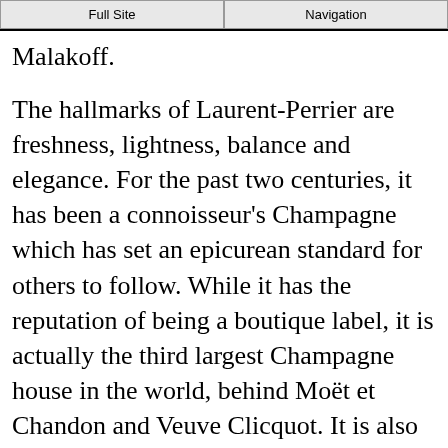Full Site | Navigation
Malakoff.
The hallmarks of Laurent-Perrier are freshness, lightness, balance and elegance. For the past two centuries, it has been a connoisseur's Champagne which has set an epicurean standard for others to follow. While it has the reputation of being a boutique label, it is actually the third largest Champagne house in the world, behind Moët et Chandon and Veuve Clicquot. It is also one of the few major houses that remains family-owned.
The freshness of the Laurent-Perrier style is primarily due to technological innovation. They were